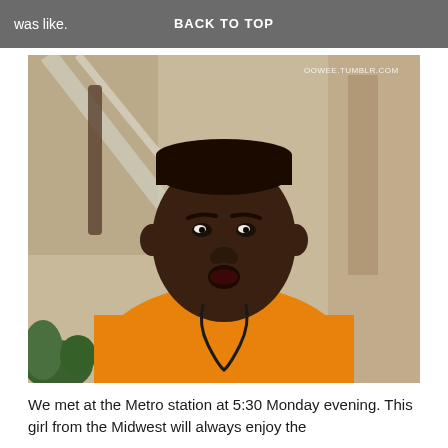was like.   BACK TO TOP
[Figure (photo): Young man (Will Smith) wearing an orange sweatshirt with a lanyard around his neck, looking surprised, from a TV show set. Watermark: OOWEE.TUMBLR.COM]
We met at the Metro station at 5:30 Monday evening. This girl from the Midwest will always enjoy the